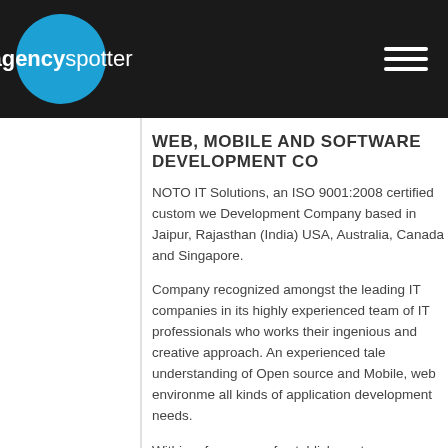agencyspotter
WEB, MOBILE AND SOFTWARE DEVELOPMENT CO
NOTO IT Solutions, an ISO 9001:2008 certified custom we Development Company based in Jaipur, Rajasthan (India) USA, Australia, Canada and Singapore.
Company recognized amongst the leading IT companies in its highly experienced team of IT professionals who works their ingenious and creative approach. An experienced tale understanding of Open source and Mobile, web environme all kinds of application development needs.
Within a few years of establishment, company has achieve 9001:2008) from the authorities and associations with Micr Acquia and Kentico. So when it comes to quality measures industry standards and this is company's unique selling ide
Company is willing to adopt latest technology and provide innovative IT solutions in terms of web design and develop